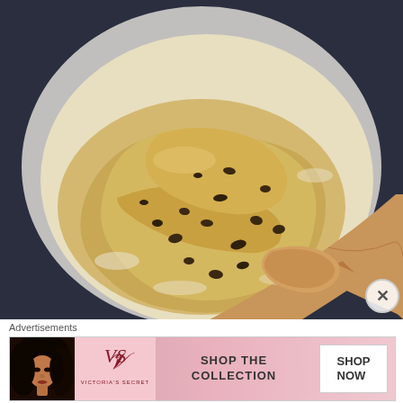[Figure (photo): Overhead view of a white mixing bowl containing chocolate chip cookie dough being stirred with a wooden spoon, on a dark blue-grey background]
Advertisements
[Figure (photo): Victoria's Secret advertisement banner with a model with curly hair on the left, the Victoria's Secret logo in the center-left, 'SHOP THE COLLECTION' text in the center, and a 'SHOP NOW' button on the right, on a pink gradient background]